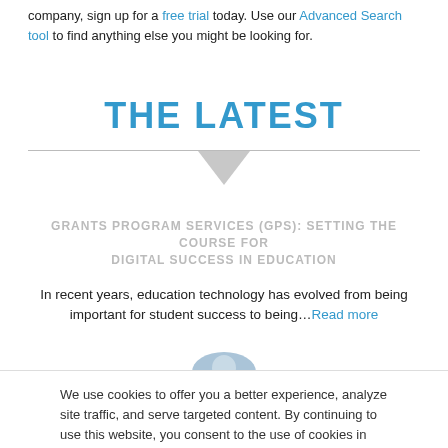company, sign up for a free trial today. Use our Advanced Search tool to find anything else you might be looking for.
THE LATEST
GRANTS PROGRAM SERVICES (GPS): SETTING THE COURSE FOR DIGITAL SUCCESS IN EDUCATION
In recent years, education technology has evolved from being important for student success to being…Read more
We use cookies to offer you a better experience, analyze site traffic, and serve targeted content. By continuing to use this website, you consent to the use of cookies in accordance with our Cookie Policy.
Accept